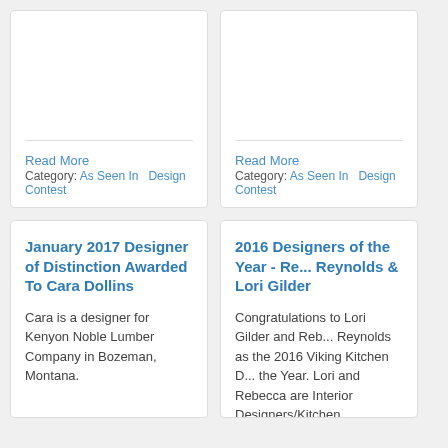Read More
Category: As Seen In   Design Contest
Read More
Category: As Seen In   Design Contest
January 2017 Designer of Distinction Awarded To Cara Dollins
Cara is a designer for Kenyon Noble Lumber Company in Bozeman, Montana.
2016 Designers of the Year - Re... Reynolds & Lori Gilder
Congratulations to Lori Gilder and Reb... Reynolds as the 2016 Viking Kitchen D... the Year. Lori and Rebecca are Interior Designers/Kitchen Designers, and cofo...